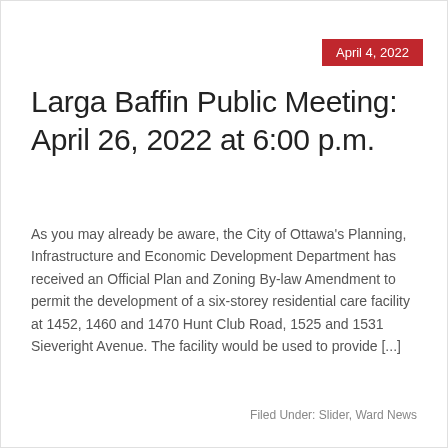April 4, 2022
Larga Baffin Public Meeting: April 26, 2022 at 6:00 p.m.
As you may already be aware, the City of Ottawa's Planning, Infrastructure and Economic Development Department has received an Official Plan and Zoning By-law Amendment to permit the development of a six-storey residential care facility at 1452, 1460 and 1470 Hunt Club Road, 1525 and 1531 Sieveright Avenue. The facility would be used to provide [...]
Filed Under: Slider, Ward News